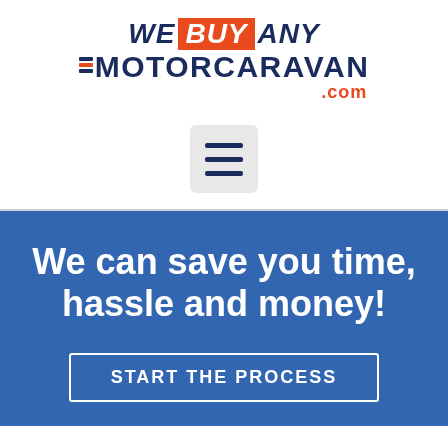[Figure (logo): We Buy Any Motorcaravan .com logo with dark navy and orange-red brand colors, with a UK flag icon element]
[Figure (other): Hamburger menu icon (three horizontal lines) in a light grey rounded square button]
We can save you time, hassle and money!
START THE PROCESS